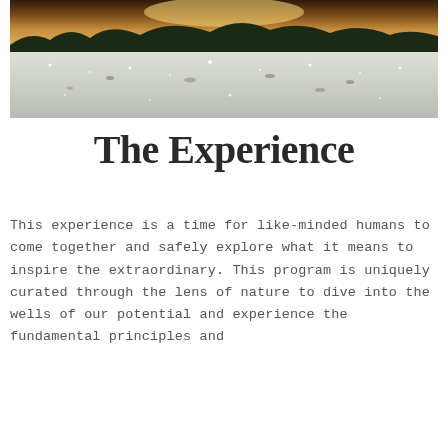[Figure (photo): Snowy winter landscape with sparkling snow on the ground and trees in the background, warm golden light on the horizon]
The Experience
This experience is a time for like-minded humans to come together and safely explore what it means to inspire the extraordinary. This program is uniquely curated through the lens of nature to dive into the wells of our potential and experience the fundamental principles and